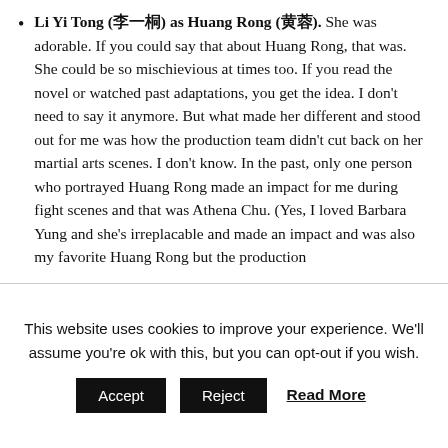Li Yi Tong (李一桐) as Huang Rong (黄蓉). She was adorable. If you could say that about Huang Rong, that was. She could be so mischievious at times too. If you read the novel or watched past adaptations, you get the idea. I don't need to say it anymore. But what made her different and stood out for me was how the production team didn't cut back on her martial arts scenes. I don't know. In the past, only one person who portrayed Huang Rong made an impact for me during fight scenes and that was Athena Chu. (Yes, I loved Barbara Yung and she's irreplacable and made an impact and was also my favorite Huang Rong but the production
This website uses cookies to improve your experience. We'll assume you're ok with this, but you can opt-out if you wish.